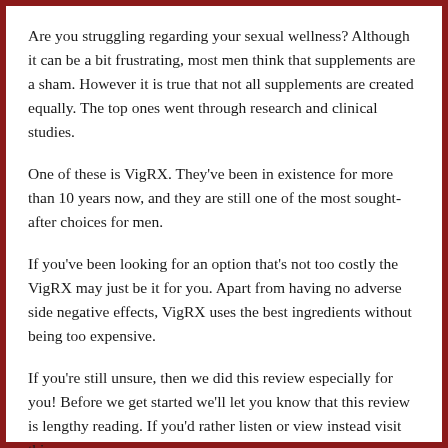Are you struggling regarding your sexual wellness? Although it can be a bit frustrating, most men think that supplements are a sham. However it is true that not all supplements are created equally. The top ones went through research and clinical studies.
One of these is VigRX. They've been in existence for more than 10 years now, and they are still one of the most sought-after choices for men.
If you've been looking for an option that's not too costly the VigRX may just be it for you. Apart from having no adverse side negative effects, VigRX uses the best ingredients without being too expensive.
If you're still unsure, then we did this review especially for you! Before we get started we'll let you know that this review is lengthy reading. If you'd rather listen or view instead visit this